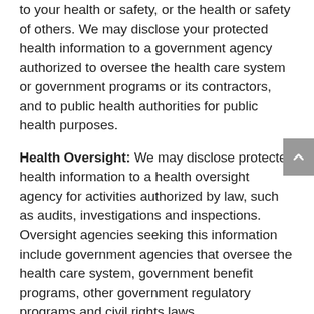to your health or safety, or the health or safety of others. We may disclose your protected health information to a government agency authorized to oversee the health care system or government programs or its contractors, and to public health authorities for public health purposes.
Health Oversight: We may disclose protected health information to a health oversight agency for activities authorized by law, such as audits, investigations and inspections. Oversight agencies seeking this information include government agencies that oversee the health care system, government benefit programs, other government regulatory programs and civil rights laws.
Abuse or Neglect: We may disclose your protected health information to a public health authority that is authorized by law to receive reports of child abuse or neglect. In addition, we may disclose your